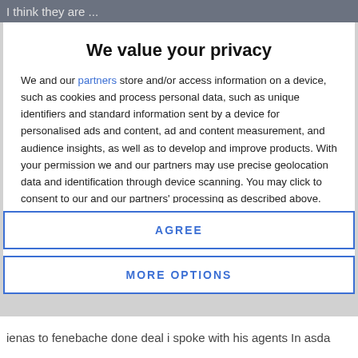I think they are ...
We value your privacy
We and our partners store and/or access information on a device, such as cookies and process personal data, such as unique identifiers and standard information sent by a device for personalised ads and content, ad and content measurement, and audience insights, as well as to develop and improve products. With your permission we and our partners may use precise geolocation data and identification through device scanning. You may click to consent to our and our partners' processing as described above. Alternatively you may access more detailed information and change your preferences before consenting or to refuse consenting. Please note that some processing of your personal data may not require your consent, but you have a right to
AGREE
MORE OPTIONS
ienas to fenebache done deal i spoke with his agents In asda